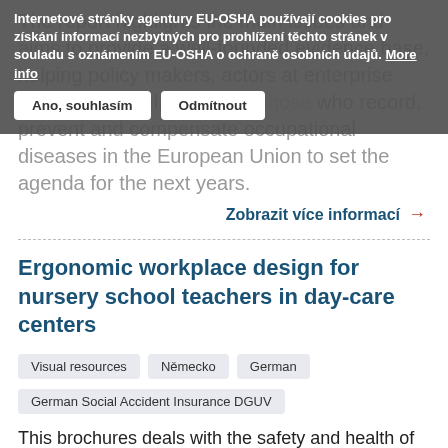The report highlights the main issues and aims to provide a well-founded evidence base, helping policy makers, actors at enterprise and sector level, as well as those who record, prevent and compensate occupational diseases in the European Union to set the agenda for the next years.
Internetové stránky agentury EU-OSHA používají cookies pro získání informací nezbytných pro prohlížení těchto stránek v souladu s oznámením EU-OSHA o ochraně osobních údajů. More info
Zobrazit více informací →
Ergonomic workplace design for nursery school teachers in day-care centers
Visual resources
Německo
German
German Social Accident Insurance DGUV
This brochures deals with the safety and health of